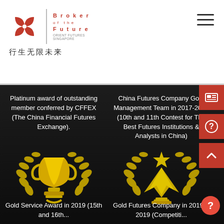[Figure (logo): Orient Futures Singapore logo with red geometric icon and 'Broker of the Future' text, plus Chinese tagline 行生无限未来]
Platinum award of outstanding member conferred by CFFEX (The China Financial Futures Exchange).
China Futures Company Gold Management Team in 2017-2019 (10th and 11th Contest for The Best Futures Institutions & Analysts in China)
[Figure (illustration): Gold trophy with laurel wreath illustration]
[Figure (illustration): Gold award with star and wings laurel wreath illustration]
Gold Service Award in 2019 (15th and 16th...
Gold Futures Company in 2019 & 2019 (Competiti...